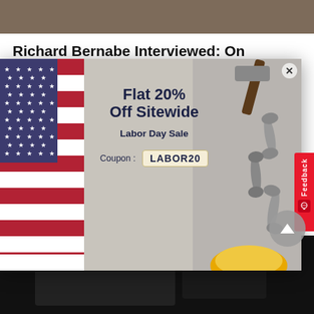[Figure (photo): Top partial image, dark/gray background, cropped at top of page]
Richard Bernabe Interviewed: On
[Figure (infographic): Popup advertisement modal: Labor Day Sale - Flat 20% Off Sitewide, Coupon: LABOR20. Background shows US flag on left and tools (wrenches, hammer) on right. Features a red Feedback tab on the right side and a close X button.]
[Figure (photo): Bottom dark image area, mostly black]